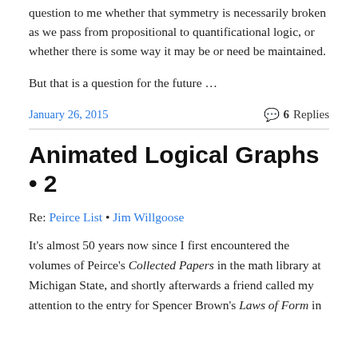question to me whether that symmetry is necessarily broken as we pass from propositional to quantificational logic, or whether there is some way it may be or need be maintained.
But that is a question for the future …
January 26, 2015 • 6 Replies
Animated Logical Graphs • 2
Re: Peirce List • Jim Willgoose
It's almost 50 years now since I first encountered the volumes of Peirce's Collected Papers in the math library at Michigan State, and shortly afterwards a friend called my attention to the entry for Spencer Brown's Laws of Form in